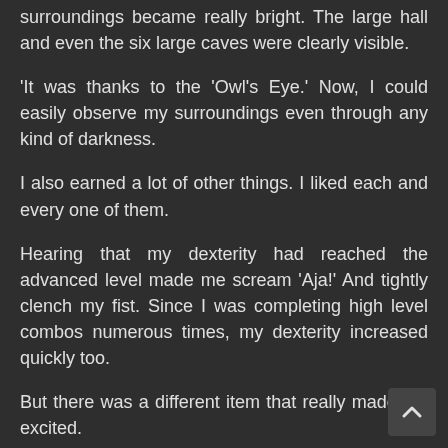surroundings became really bright. The large hall and even the six large caves were clearly visible.
'It was thanks to the 'Owl's Eye.' Now, I could easily observe my surroundings even through any kind of darkness.
I also earned a lot of other things. I liked each and every one of them.
Hearing that my dexterity had reached the advanced level made me scream 'Aja!' And tightly clench my fist. Since I was completing high level combos numerous times, my dexterity increased quickly too.
But there was a different item that really made me excited.
'I finally have it! Drake's TBSA textbook!'